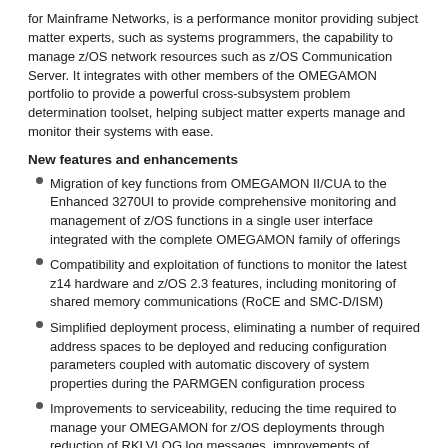for Mainframe Networks, is a performance monitor providing subject matter experts, such as systems programmers, the capability to manage z/OS network resources such as z/OS Communication Server. It integrates with other members of the OMEGAMON portfolio to provide a powerful cross-subsystem problem determination toolset, helping subject matter experts manage and monitor their systems with ease.
New features and enhancements
Migration of key functions from OMEGAMON II/CUA to the Enhanced 3270UI to provide comprehensive monitoring and management of z/OS functions in a single user interface integrated with the complete OMEGAMON family of offerings
Compatibility and exploitation of functions to monitor the latest z14 hardware and z/OS 2.3 features, including monitoring of shared memory communications (RoCE and SMC-D/ISM)
Simplified deployment process, eliminating a number of required address spaces to be deployed and reducing configuration parameters coupled with automatic discovery of system properties during the PARMGEN configuration process
Improvements to serviceability, reducing the time required to manage your OMEGAMON for z/OS deployments through reduction of RKLVLOG log messages, improvements of dynamic tracing, and reworked situations to alert users to communication problems between agents and servers
Migration of key functions to the Enhanced 3270UI means that the OMEGAMON II/Common User Interface (CUA) is withdrawn in